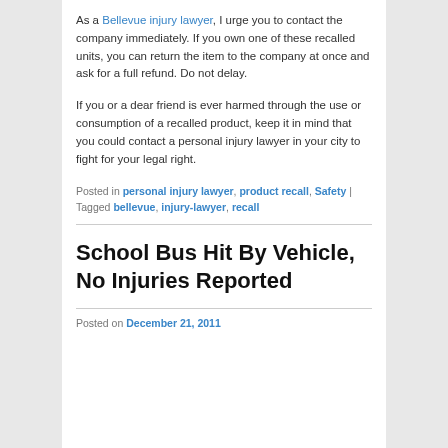As a Bellevue injury lawyer, I urge you to contact the company immediately. If you own one of these recalled units, you can return the item to the company at once and ask for a full refund. Do not delay.
If you or a dear friend is ever harmed through the use or consumption of a recalled product, keep it in mind that you could contact a personal injury lawyer in your city to fight for your legal right.
Posted in personal injury lawyer, product recall, Safety | Tagged bellevue, injury-lawyer, recall
School Bus Hit By Vehicle, No Injuries Reported
Posted on December 21, 2011